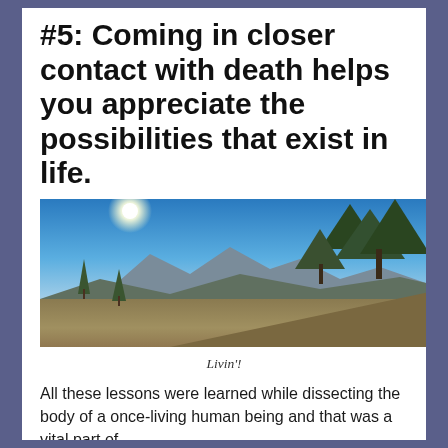#5: Coming in closer contact with death helps you appreciate the possibilities that exist in life.
[Figure (photo): Panoramic mountain landscape photo with blue sky, sun glare, pine trees on the right, a distant mountain range, and dry golden hillside in the foreground. Caption below reads: Livin'!]
Livin'!
All these lessons were learned while dissecting the body of a once-living human being and that was a vital part of